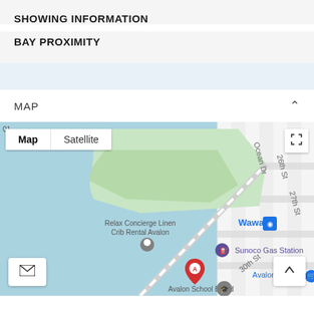SHOWING INFORMATION
BAY PROXIMITY
MAP
[Figure (map): Google Map showing Avalon, NJ area with location marker A near 30th St, showing Relax Concierge Linen Crib Rental Avalon, Wawa, Sunoco Gas Station, Avalon SuperMarket, Avalon School Board. Map and Satellite toggle buttons visible. Streets include Ocean Dr, 26th St, 27th St, 30th St.]